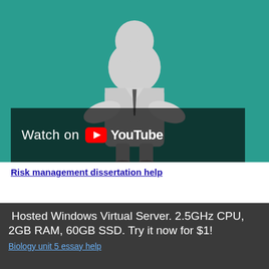[Figure (screenshot): YouTube video thumbnail with teal background showing a cartoon person in white coat with arms crossed, and a 'Watch on YouTube' bar at bottom]
Risk management dissertation help
Msc dissertation marking scheme
Dissertation questionnaire analysis
Hosted Windows Virtual Server. 2.5GHz CPU, 2GB RAM, 60GB SSD. Try it now for $1!
Biology unit 5 essay help